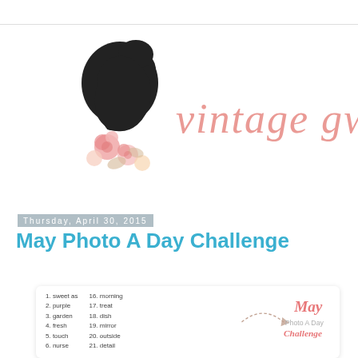[Figure (logo): Vintage Gwen blog logo: silhouette of a woman's head in black with pink roses, and cursive text 'vintage gwen' in pink/rose color]
Thursday, April 30, 2015
May Photo A Day Challenge
[Figure (infographic): May Photo A Day Challenge card showing a numbered list of daily photo prompts (1. sweet as, 2. purple, 3. garden, 4. fresh, 5. touch, 6. nurse, 16. morning, 17. treat, 18. dish, 19. mirror, 20. outside, 21. detail) alongside a decorative graphic with text 'May Photo A Day Challenge' in coral/pink script and a dashed arrow]